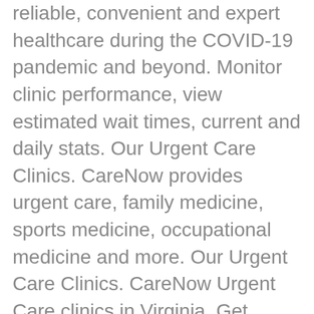reliable, convenient and expert healthcare during the COVID-19 pandemic and beyond. Monitor clinic performance, view estimated wait times, current and daily stats. Our Urgent Care Clinics. CareNow provides urgent care, family medicine, sports medicine, occupational medicine and more. Our Urgent Care Clinics. CareNow Urgent Care clinics in Virginia. Get directions, reviews and information for CareNow Urgent Care in Conroe, TX. Information, data and designs from this website may not be copied, archived, mined, stored, captured, harvested or used in any way except in connection with use of the site in the ordinary course for its intended purpose. Apply now. Swiftcare provides urgent medical care for Euelss, Bedford, Colleyville, Arlington, Hurst, Grapevine, Texas and DWF Airport. SwiftCare Urgent Care offers same day appointments and walk in visits 7 days a week for your URGENT care needs. - 5p.m. Hurst, Texas CareNow Location. Menu & Reservations Make Reservations . While meeting with the doctor he was eager to listen to all that I had to say and did not … Prosper, TX – North Texans have another option for urgent care with the opening of a new CareNow clinic in Prosper. Febr...